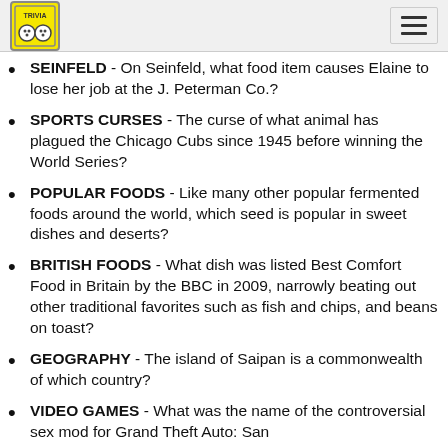[Logo] [Hamburger menu]
SEINFELD - On Seinfeld, what food item causes Elaine to lose her job at the J. Peterman Co.?
SPORTS CURSES - The curse of what animal has plagued the Chicago Cubs since 1945 before winning the World Series?
POPULAR FOODS - Like many other popular fermented foods around the world, which seed is popular in sweet dishes and deserts?
BRITISH FOODS - What dish was listed Best Comfort Food in Britain by the BBC in 2009, narrowly beating out other traditional favorites such as fish and chips, and beans on toast?
GEOGRAPHY - The island of Saipan is a commonwealth of which country?
VIDEO GAMES - What was the name of the controversial sex mod for Grand Theft Auto: San